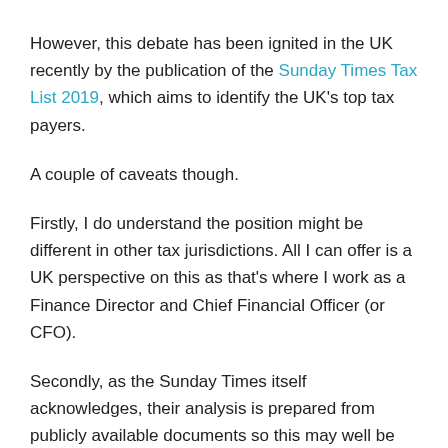However, this debate has been ignited in the UK recently by the publication of the Sunday Times Tax List 2019, which aims to identify the UK's top tax payers.
A couple of caveats though.
Firstly, I do understand the position might be different in other tax jurisdictions. All I can offer is a UK perspective on this as that's where I work as a Finance Director and Chief Financial Officer (or CFO).
Secondly, as the Sunday Times itself acknowledges, their analysis is prepared from publicly available documents so this may well be less than the complete picture of any one individual's tax affairs.
However, the debate has come to a conclusion